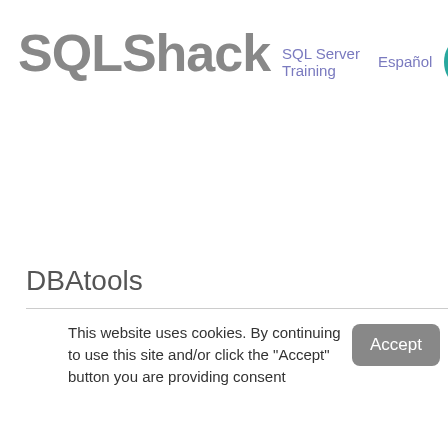SQLShack  SQL Server Training  Español
DBAtools
This website uses cookies. By continuing to use this site and/or click the "Accept" button you are providing consent
Quest Software and its affiliates do NOT sell the Personal Data you provide to us either when you register on our websites or when you do business with us. For more information about our Privacy Policy and our data protection efforts, please visit GDPR-HQ